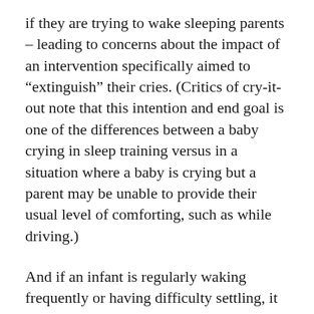if they are trying to wake sleeping parents – leading to concerns about the impact of an intervention specifically aimed to “extinguish” their cries. (Critics of cry-it-out note that this intention and end goal is one of the differences between a baby crying in sleep training versus in a situation where a baby is crying but a parent may be unable to provide their usual level of comforting, such as while driving.)
And if an infant is regularly waking frequently or having difficulty settling, it could be the sign of an underlying health issue like reflux or a tongue tie, so it’s important to rule out any medical reasons for sleep problems first.